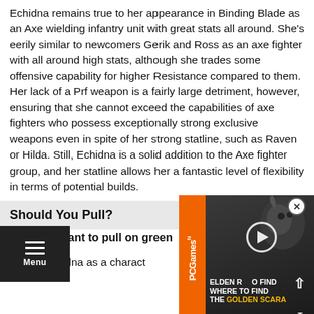Echidna remains true to her appearance in Binding Blade as an Axe wielding infantry unit with great stats all around. She's eerily similar to newcomers Gerik and Ross as an axe fighter with all around high stats, although she trades some offensive capability for higher Resistance compared to them. Her lack of a Prf weapon is a fairly large detriment, however, ensuring that she cannot exceed the capabilities of axe fighters who possess exceptionally strong exclusive weapons even in spite of her strong statline, such as Raven or Hilda. Still, Echidna is a solid addition to the Axe fighter group, and her statline allows her a fantastic level of flexibility in terms of potential builds.
Should You Pull?
You may want to pull on green...
...ou like Echidna as a character...
[Figure (screenshot): PCGamesN video ad overlay: Elden Ring - Where to find the Golden Scarab, with play button and orange PCGamesN logo bar on the left]